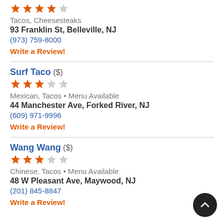[Figure (other): 4 stars rating: 4 orange stars, 1 gray star]
Tacos, Cheesesteaks
93 Franklin St, Belleville, NJ
(973) 759-8000
Write a Review!
Surf Taco ($)
[Figure (other): 3 stars rating: 3 orange stars, 2 gray stars]
Mexican, Tacos • Menu Available
44 Manchester Ave, Forked River, NJ
(609) 971-9996
Write a Review!
Wang Wang ($)
[Figure (other): 3 stars rating: 3 orange stars, 2 gray stars]
Chinese, Tacos • Menu Available
48 W Pleasant Ave, Maywood, NJ
(201) 845-8847
Write a Review!